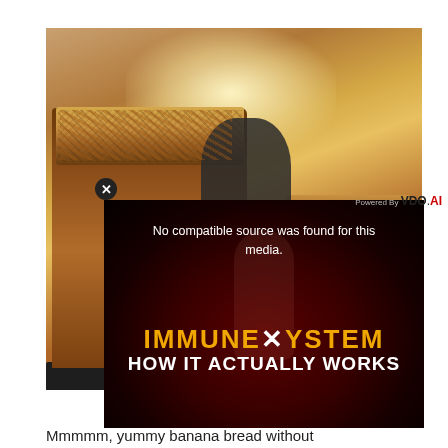[Figure (photo): Photo of banana bread loaves in dark baking pans, topped with chopped nuts, on a counter. A video player overlay appears in the lower portion showing an error message 'No compatible source was found for this media.' with a dark background thumbnail showing 'IMMUNE SYSTEM HOW IT ACTUALLY WORKS' text. A close button (X) and VDO.AI branding are visible on the video overlay.]
Mmmmm, yummy banana bread without